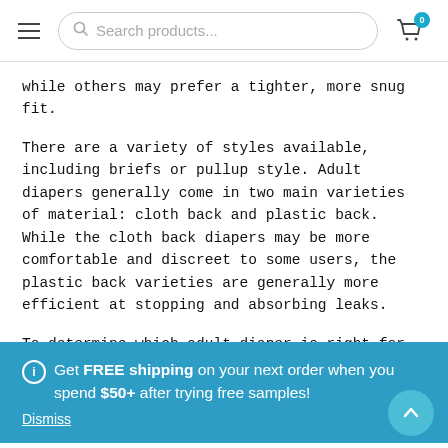Search products...  [cart: 0]
while others may prefer a tighter, more snug fit.
There are a variety of styles available, including briefs or pullup style. Adult diapers generally come in two main varieties of material: cloth back and plastic back. While the cloth back diapers may be more comfortable and discreet to some users, the plastic back varieties are generally more efficient at stopping and absorbing leaks.
To determine which adult diaper is right for you, read the
ℹ Get FREE shipping on your next order when you spend $50+ after trying free samples!
Dismiss
Adult Diaper Brands
MedProDirect carries a variety of top quality adult diaper